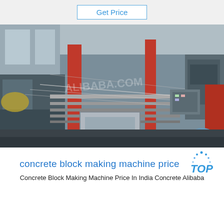Get Price
[Figure (photo): Industrial factory floor showing concrete block making machinery, metal frames, conveyor equipment, and large industrial machines in a warehouse setting.]
concrete block making machine price
Concrete Block Making Machine Price In India Concrete Alibaba